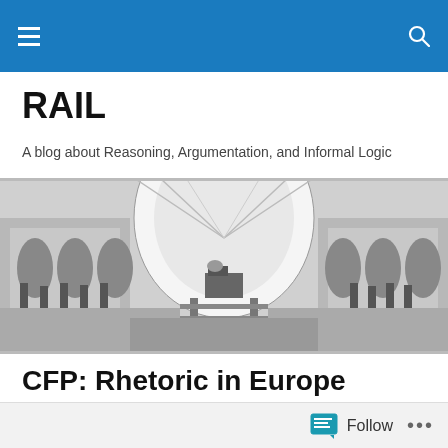RAIL blog header navigation bar
RAIL
A blog about Reasoning, Argumentation, and Informal Logic
[Figure (illustration): Black and white engraving of a Victorian-era railway station interior with large arched roof, train tracks, and people on the platform.]
CFP: Rhetoric in Europe
Posted by SP
Follow ...